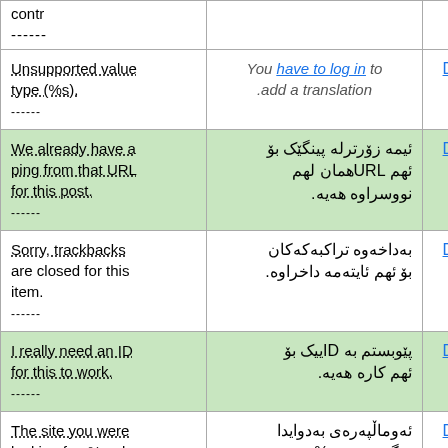| Original | Translation | Action |
| --- | --- | --- |
| contr ------ |  |  |
| Unsupported value type (%s). | You have to log in to .add a translation | Details |
| We already have a ping from that URL for this post. | ئیمه زۆرترله پینگێک بۆ ئهم URL‌همان لهم نووسراوه هه‌یه. | Details |
| Sorry, trackbacks are closed for this item. | به‌داخه‌وه تراکبه‌که‌کان بۆ ئهم ئایته‌مه داخراوه. | Details |
| I really need an ID for this to work. | پێوبستم به ID‌ییک بۆ ئهم کاره هه‌یه. | Details |
| The site you were looking for, %s, does not exist. | ئه‌وماڵپه‌ره‌ی به‌دوایدا ئه‌گه‌ره‌یت، s%، نییه. | Details |
| The site you were ... | ئه‌و ماڵپه‌ره‌ی به‌دوای | Details |